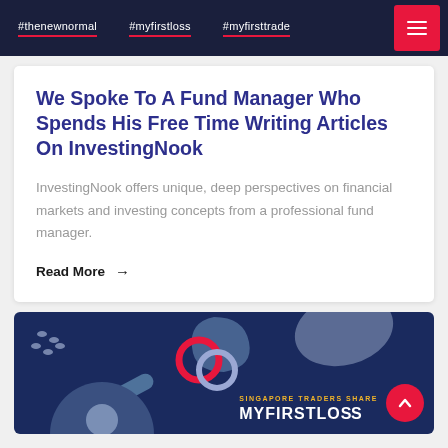#thenewnormal   #myfirstloss   #myfirsttrade
We Spoke To A Fund Manager Who Spends His Free Time Writing Articles On InvestingNook
InvestingNook offers unique, deep perspectives on financial markets and investing concepts from a professional fund manager.
Read More →
[Figure (photo): Dark navy background card with decorative abstract shapes (ellipses, rings, teardrop, pill shapes in pink, lavender, and light blue), a circular portrait photo of an Asian man smiling, text reading 'SINGAPORE TRADERS SHARE' and 'MYFIRSTLOSS' in white.]